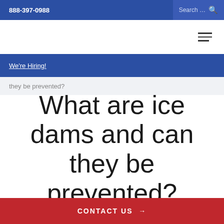888-397-0988  Search...
We're Hiring!
they be prevented?
What are ice dams and can they be prevented?
CONTACT US →